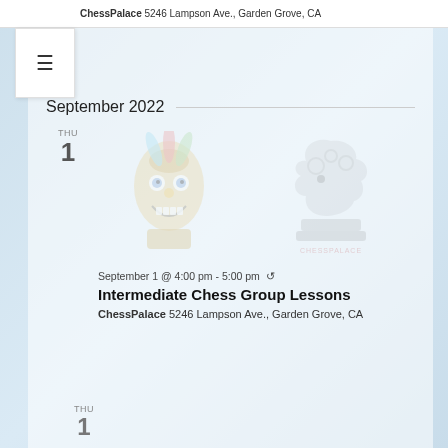ChessPalace 5246 Lampson Ave., Garden Grove, CA
September 2022
THU
1
[Figure (illustration): Watermark-style faded images: a colorful tiki mask on the left and a Chess Palace knight chess piece logo on the right with text CHESSPALACE]
September 1 @ 4:00 pm - 5:00 pm
Intermediate Chess Group Lessons
ChessPalace 5246 Lampson Ave., Garden Grove, CA
THU
1